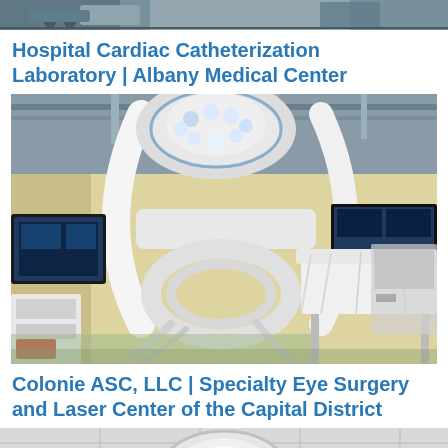[Figure (photo): Top portion of a medical/surgical room photo, cropped at top of page]
Hospital Cardiac Catheterization Laboratory | Albany Medical Center
[Figure (photo): Interior of a cardiac catheterization laboratory showing a large C-arm X-ray machine with LED surgical lights, medical monitors, equipment carts, and a procedure table with white draping. Room has cream/tan walls and gray ceiling with medical rails.]
Colonie ASC, LLC | Specialty Eye Surgery and Laser Center of the Capital District
[Figure (photo): Bottom portion of another medical facility photo, showing ceiling with circular surgical light fixture, cropped at bottom of page]